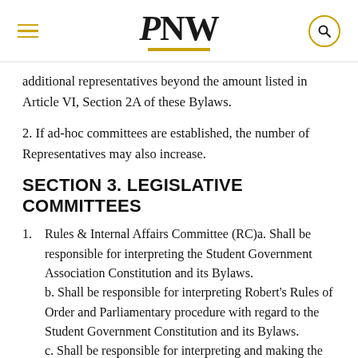PNW
additional representatives beyond the amount listed in Article VI, Section 2A of these Bylaws.
2. If ad-hoc committees are established, the number of Representatives may also increase.
SECTION 3. LEGISLATIVE COMMITTEES
1. Rules & Internal Affairs Committee (RC)a. Shall be responsible for interpreting the Student Government Association Constitution and its Bylaws.
b. Shall be responsible for interpreting Robert's Rules of Order and Parliamentary procedure with regard to the Student Government Constitution and its Bylaws.
c. Shall be responsible for interpreting and making the necessary revisions to the Standing